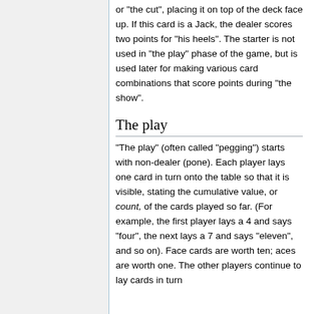or "the cut", placing it on top of the deck face up. If this card is a Jack, the dealer scores two points for "his heels". The starter is not used in "the play" phase of the game, but is used later for making various card combinations that score points during "the show".
The play
"The play" (often called "pegging") starts with non-dealer (pone). Each player lays one card in turn onto the table so that it is visible, stating the cumulative value, or count, of the cards played so far. (For example, the first player lays a 4 and says "four", the next lays a 7 and says "eleven", and so on). Face cards are worth ten; aces are worth one. The other players continue to lay cards in turn without exceeding 31 until they reach...